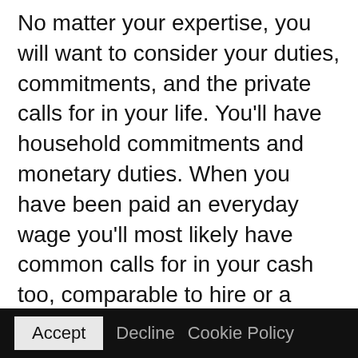No matter your expertise, you will want to consider your duties, commitments, and the private calls for in your life. You'll have household commitments and monetary duties. When you have been paid an everyday wage you'll most likely have common calls for in your cash too, comparable to hire or a mortgage, automobile mortgage repayments, utility payments and different direct debits.
Whereas a few of your expenditure will be in the reduction of, you most likely gained't be capable of pay much less in your hire, mortgage or utility payments, so you could
Accept   Decline   Cookie Policy